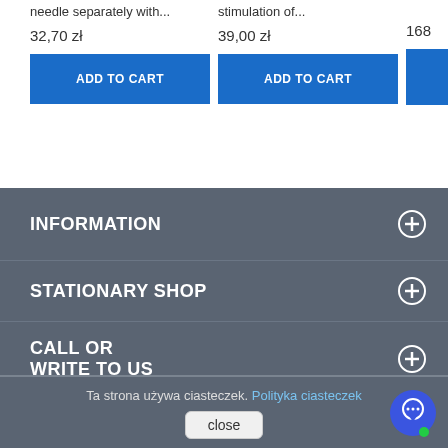needle separately with...
32,70 zł
stimulation of...
39,00 zł
168
ADD TO CART
ADD TO CART
INFORMATION
STATIONARY SHOP
CALL OR WRITE TO US
JOIN FOR US
Ta strona używa ciasteczek. Polityka ciasteczek
close